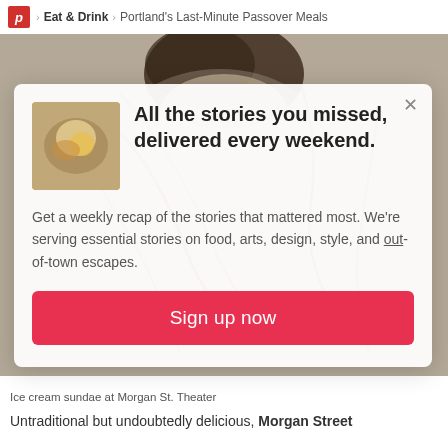p > Eat & Drink > Portland's Last-Minute Passover Meals
[Figure (photo): Food photo background showing ice cream sundae with syrup drizzles on a light background, partially obscured by modal dialog]
All the stories you missed, delivered every weekend.
Get a weekly recap of the stories that mattered most. We're serving essential stories on food, arts, design, style, and out-of-town escapes.
Sign up now
Ice cream sundae at Morgan St. Theater
Untraditional but undoubtedly delicious, Morgan Street